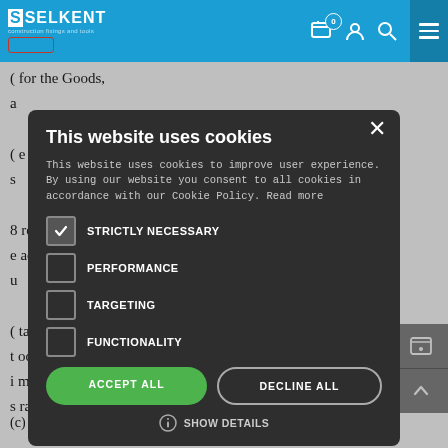[Figure (screenshot): Selkent website navigation bar with blue background, logo, cart icon with badge showing 0, user icon, search icon, and hamburger menu]
(... for the Goods, a...
(... e Goods and/or s...
8... responsible for e... actors and end- u...
[Figure (screenshot): Cookie consent modal dialog on dark background with title 'This website uses cookies', body text explaining cookie usage, checkboxes for STRICTLY NECESSARY (checked), PERFORMANCE, TARGETING, FUNCTIONALITY, ACCEPT ALL and DECLINE ALL buttons, and SHOW DETAILS option]
(... tain, and repair t... od practice and i... ments and data s... raining, usage a... from time to t...
(... of Goods s...
(c) use the Goods with the recommended safety equipment t...